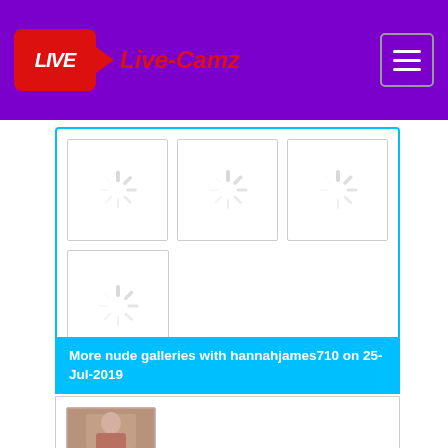Live-Camz
[Figure (screenshot): Four loading thumbnail placeholders with spinner icons in a grid layout]
More nude galleries with hannahjames710 on 25-Jul-2019
[Figure (photo): Thumbnail preview image of a person]